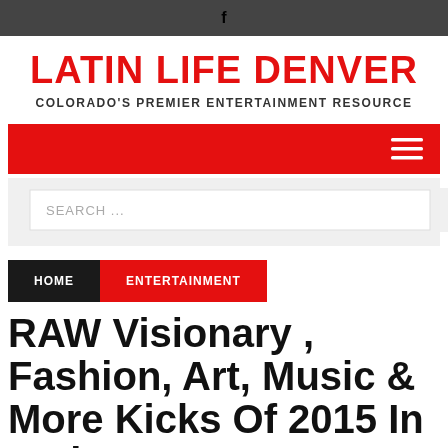f
LATIN LIFE DENVER
COLORADO'S PREMIER ENTERTAINMENT RESOURCE
[Figure (screenshot): Red navigation bar with hamburger menu icon on the right]
[Figure (screenshot): Search input field with placeholder text SEARCH ...]
HOME  ENTERTAINMENT
RAW Visionary , Fashion, Art, Music & More Kicks Of 2015 In Style!